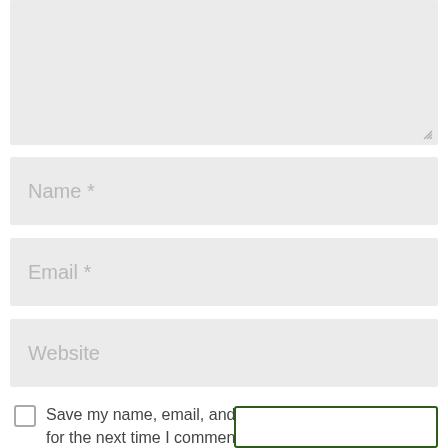[Figure (screenshot): Top portion of a web comment form showing a textarea (grayed out, partially visible at top), followed by three input fields labeled 'Name *', 'Email *', and 'Website', then three checkbox rows: 'Save my name, email, and website in this browser for the next time I comment.', 'Notify me of follow-up comments by email.', 'Notify me of new posts by email.', and a partial green-bordered submit button at the bottom right.]
Name *
Email *
Website
Save my name, email, and website in this browser for the next time I comment.
Notify me of follow-up comments by email.
Notify me of new posts by email.